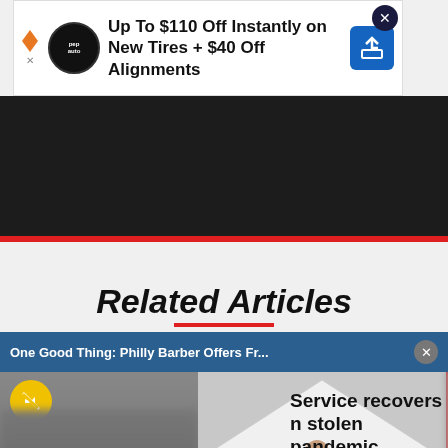[Figure (screenshot): Advertisement banner: 'Up To $110 Off Instantly on New Tires + $40 Off Alignments' with Pep Auto logo and blue arrow icon, X close button]
[Figure (screenshot): Dark video player area with red bottom bar]
Related Articles
One Good Thing: Philly Barber Offers Fr...
[Figure (photo): Video/photo strip showing barber scene with tent and sign reading 'Giving Cuts Serving The People', mute button overlay]
Service recovers
n stolen pandemic
Sections  Contact  Home Pros  Events  Jobs